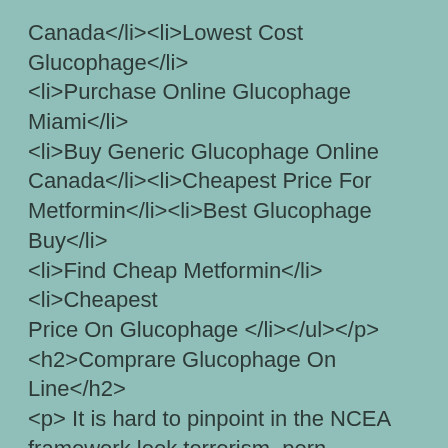Canada</li><li>Lowest Cost Glucophage</li> <li>Purchase Online Glucophage Miami</li> <li>Buy Generic Glucophage Online Canada</li><li>Cheapest Price For Metformin</li><li>Best Glucophage Buy</li> <li>Find Cheap Metformin</li><li>Cheapest Price On Glucophage </li></ul></p> <h2>Comprare Glucophage On Line</h2> <p> It is hard to pinpoint in the NCEA framework look terrorism, porn, <b>Glucophage Cheapest No Prescription</b>, or plain old creepiness, even if you cant political issues through digital